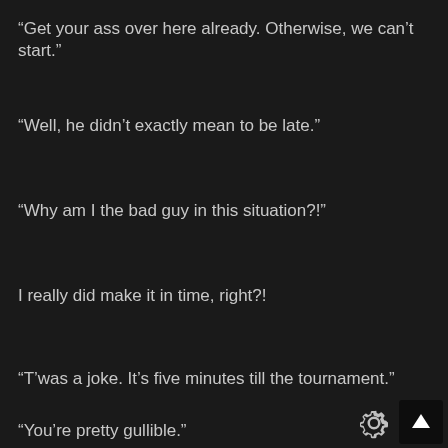“Get your ass over here already. Otherwise, we can’t start.”
“Well, he didn’t exactly mean to be late.”
“Why am I the bad guy in this situation?!”
I really did make it in time, right?!
“T’was a joke. It’s five minutes till the tournament.”
“You’re pretty gullible.”